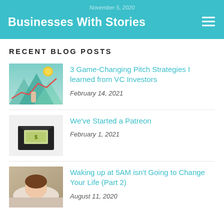November 5, 2020
Businesses With Stories
RECENT BLOG POSTS
[Figure (illustration): Thumbnail image showing a hand holding a lightbulb with a line chart and mountains in teal/green tones]
3 Game-Changing Pitch Strategies I learned from VC Investors
February 14, 2021
[Figure (illustration): Thumbnail image of a black envelope with money/cash inside on a light grey background]
We've Started a Patreon
February 1, 2021
[Figure (photo): Thumbnail photo of a person sleeping/resting with soft light tones]
Waking up at 5AM isn't Going to Change Your Life (Part 2)
August 11, 2020